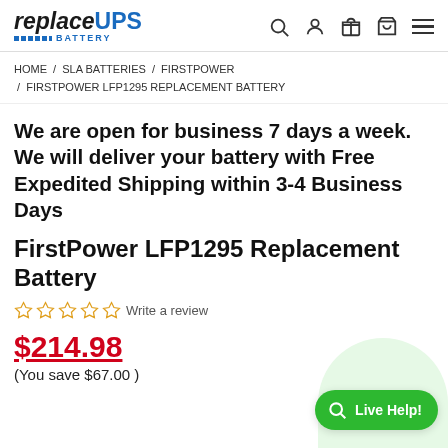replaceUPS BATTERY [logo with search, account, gift, cart, menu icons]
HOME / SLA BATTERIES / FIRSTPOWER / FIRSTPOWER LFP1295 REPLACEMENT BATTERY
We are open for business 7 days a week. We will deliver your battery with Free Expedited Shipping within 3-4 Business Days
FirstPower LFP1295 Replacement Battery
☆☆☆☆☆ Write a review
$214.98
(You save $67.00 )